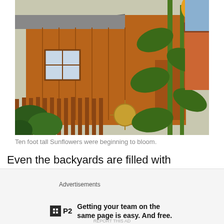[Figure (photo): A wooden garden shed with brown siding and a shingled roof. Tall sunflower plants rise on the right side. A wooden fence runs in front of the shed. A sunflower bloom is visible at the top right. A decorative sun disk hangs on the fence. Garden plants fill the foreground.]
Ten foot tall Sunflowers were beginning to bloom.
Even the backyards are filled with flowers. One last stop for the day led to discovery of beautiful sunflowers over
Advertisements
P2   Getting your team on the same page is easy. And free.